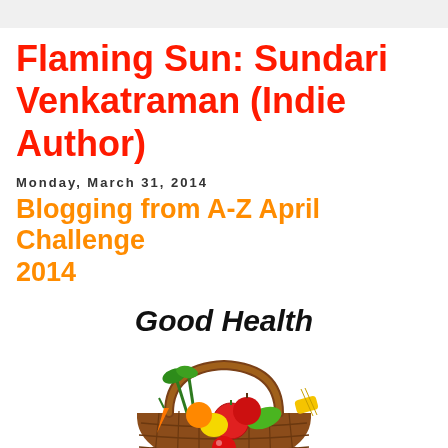Flaming Sun: Sundari Venkatraman (Indie Author)
Monday, March 31, 2014
Blogging from A-Z April Challenge 2014
[Figure (illustration): Clipart illustration of a wicker basket filled with colorful fruits and vegetables with the text 'Good Health' above and partially visible text below]